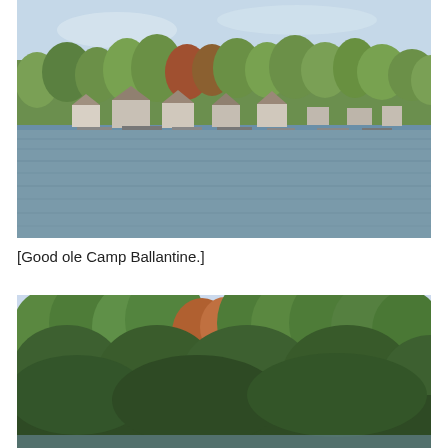[Figure (photo): Lakeside view showing calm grey-blue water in the foreground, with houses and docks along the far shore, and a dense line of green and autumn-colored trees under a light blue sky.]
[Good ole Camp Ballantine.]
[Figure (photo): Dense canopy of green trees viewed from across water, under a light blue sky, with hints of orange autumn foliage.]